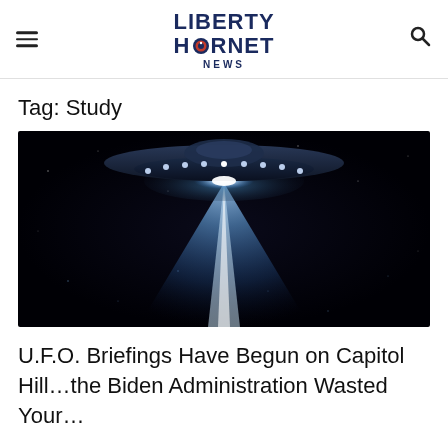LIBERTY HORNET NEWS
Tag: Study
[Figure (photo): UFO / flying saucer spacecraft with bright beam of light shining downward against a dark starry background]
U.F.O. Briefings Have Begun on Capitol Hill…the Biden Administration Wasted Your…